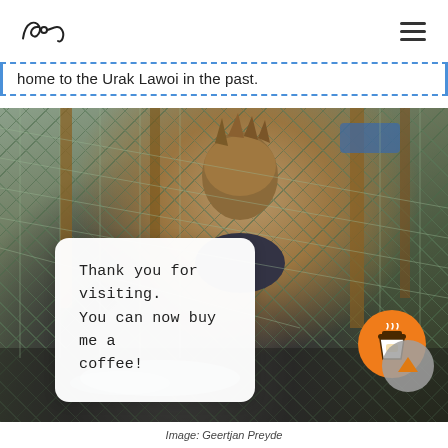[logo] [hamburger menu]
home to the Urak Lawoi in the past.
[Figure (photo): A person with spiky hair crouching in front of fishing nets and wooden structures, working with nets. Orange coffee cup button overlay and a popup card with text visible.]
Image: Geertjan Preyde